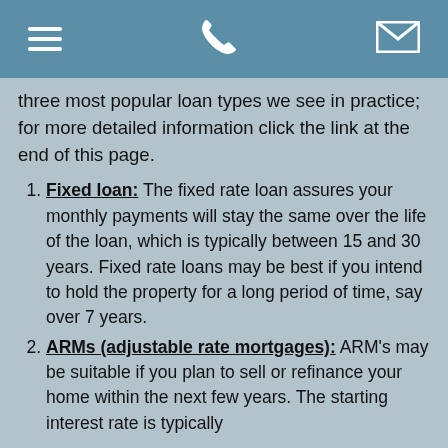[hamburger menu icon] [phone icon] [mail icon]
three most popular loan types we see in practice; for more detailed information click the link at the end of this page.
Fixed loan: The fixed rate loan assures your monthly payments will stay the same over the life of the loan, which is typically between 15 and 30 years. Fixed rate loans may be best if you intend to hold the property for a long period of time, say over 7 years.
ARMs (adjustable rate mortgages): ARM's may be suitable if you plan to sell or refinance your home within the next few years. The starting interest rate is typically